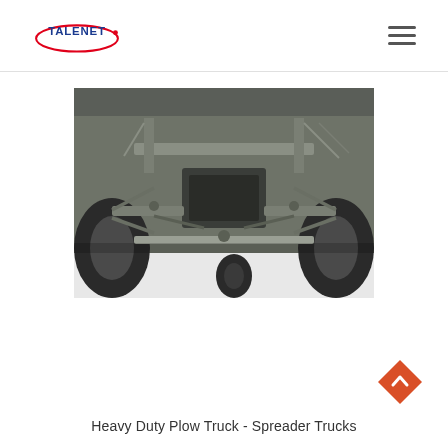TALENET
[Figure (photo): Underside/chassis view of a heavy duty plow truck showing front axle, suspension components, steering linkage, and frame, photographed from below on a snowy surface.]
Heavy Duty Plow Truck - Spreader Trucks